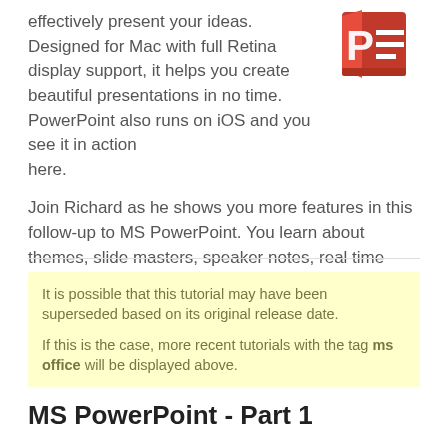effectively present your ideas. Designed for Mac with full Retina display support, it helps you create beautiful presentations in no time. PowerPoint also runs on iOS and you see it in action here.
[Figure (logo): Microsoft PowerPoint logo — red P icon with slides graphic]
Join Richard as he shows you more features in this follow-up to MS PowerPoint. You learn about themes, slide masters, speaker notes, real time collaboration, and more.
It is possible that this tutorial may have been superseded based on its original release date.

If this is the case, more recent tutorials with the tag ms office will be displayed above.
MS PowerPoint - Part 1